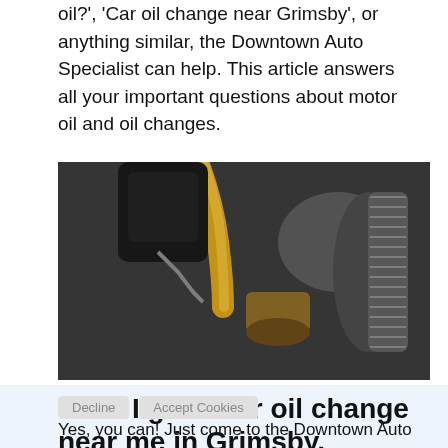oil?', 'Car oil change near Grimsby', or anything similar, the Downtown Auto Specialist can help. This article answers all your important questions about motor oil and oil changes.
[Figure (photo): Close-up photo of golden motor oil being poured into a car engine, with engine components and hoses visible in the background.]
“Can I get a car oil change near me in Grimsby, Ontario?”
Yes, you can! Just come to the Downtown Auto Specialist. We’d be happy to perform an oil